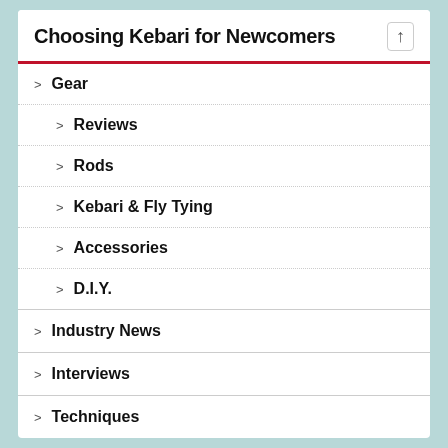Choosing Kebari for Newcomers
Gear
Reviews
Rods
Kebari & Fly Tying
Accessories
D.I.Y.
Industry News
Interviews
Techniques
Species
Trout & Char
Warmwater